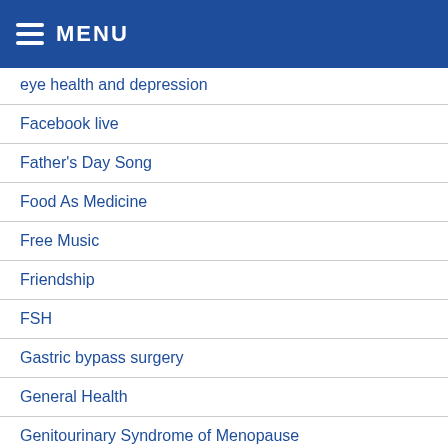MENU
eye health and depression
Facebook live
Father's Day Song
Food As Medicine
Free Music
Friendship
FSH
Gastric bypass surgery
General Health
Genitourinary Syndrome of Menopause
George Floyd
Glucosamine